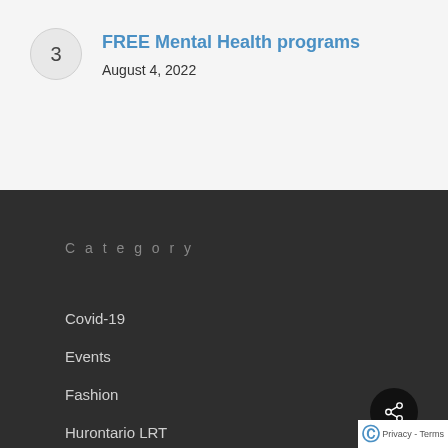FREE Mental Health programs
August 4, 2022
Category
Covid-19
Events
Fashion
Hurontario LRT
Privacy - Terms